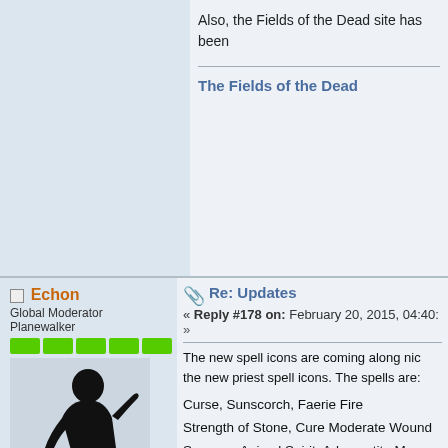Also, the Fields of the Dead site has been
The Fields of the Dead
Echon
Global Moderator
Planewalker
Posts: 1942
Gender: ♂
Re: Updates
« Reply #178 on: February 20, 2015, 04:40:
The new spell icons are coming along nic the new priest spell icons. The spells are:
Curse, Sunscorch, Faerie Fire
Strength of Stone, Cure Moderate Wound
Summon Animal Spirit, Adamantite Mace,
[Figure (screenshot): 3x3 grid of fantasy spell icons on teal/gold background]
spell_icons.png (20.35 kB, 113x116 - viewed